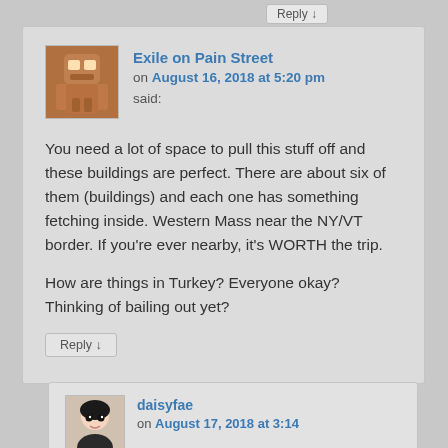Reply ↓
Exile on Pain Street
on August 16, 2018 at 5:20 pm said:
You need a lot of space to pull this stuff off and these buildings are perfect. There are about six of them (buildings) and each one has something fetching inside. Western Mass near the NY/VT border. If you're ever nearby, it's WORTH the trip.
How are things in Turkey? Everyone okay? Thinking of bailing out yet?
Reply ↓
daisyfae
on August 17, 2018 at 3:14